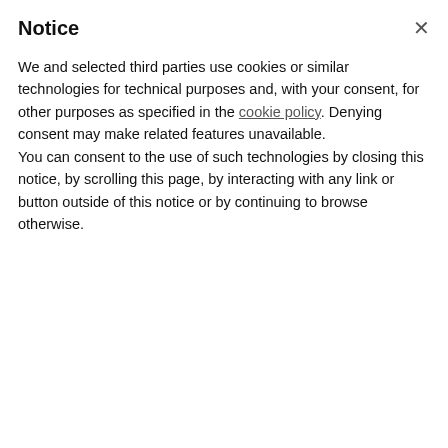Notice
We and selected third parties use cookies or similar technologies for technical purposes and, with your consent, for other purposes as specified in the cookie policy. Denying consent may make related features unavailable.
You can consent to the use of such technologies by closing this notice, by scrolling this page, by interacting with any link or button outside of this notice or by continuing to browse otherwise.
From: January
To: December
Days:
Monday
Tuesday
€40
per person
Request to Book